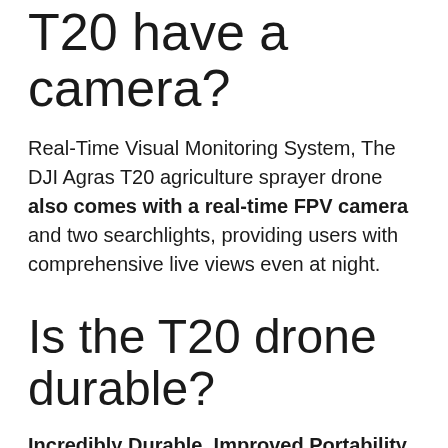T20 have a camera?
Real-Time Visual Monitoring System, The DJI Agras T20 agriculture sprayer drone also comes with a real-time FPV camera and two searchlights, providing users with comprehensive live views even at night.
Is the T20 drone durable?
Incredibly Durable, Improved Portability, With a robust modular design, the T20 folds and unfolds in seconds, making it more portable than other agricultural drones. The spray tank and battery are both swappable, reducing